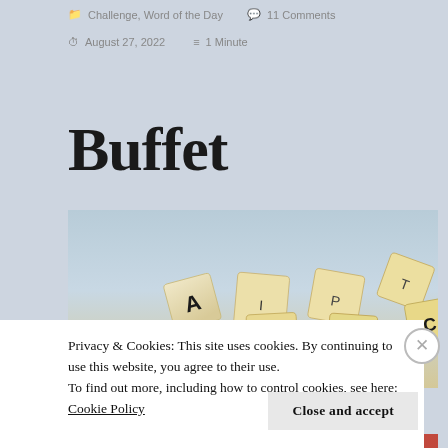Challenge, Word of the Day   11 Comments
August 27, 2022   1 Minute
Buffet
[Figure (photo): Scrabble-style letter tiles scattered on a light blue surface, showing various letters including A, B, P, R, C and others, photographed from the side with shallow depth of field.]
Privacy & Cookies: This site uses cookies. By continuing to use this website, you agree to their use.
To find out more, including how to control cookies, see here: Cookie Policy
Close and accept